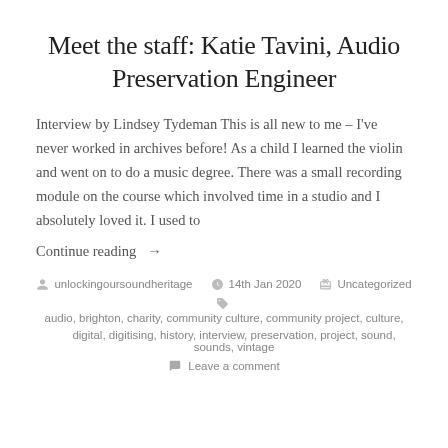Meet the staff: Katie Tavini, Audio Preservation Engineer
Interview by Lindsey Tydeman This is all new to me – I've never worked in archives before! As a child I learned the violin and went on to do a music degree. There was a small recording module on the course which involved time in a studio and I absolutely loved it. I used to
Continue reading →
unlockingoursoundheritage  14th Jan 2020  Uncategorized  audio, brighton, charity, community culture, community project, culture, digital, digitising, history, interview, preservation, project, sound, sounds, vintage  Leave a comment